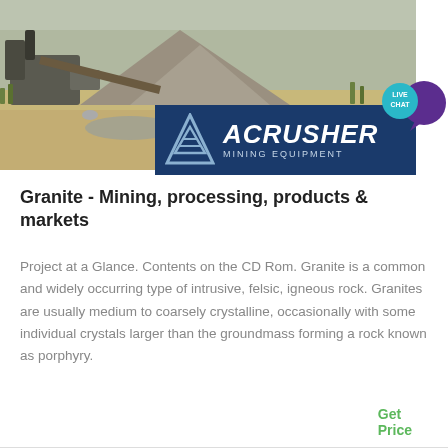[Figure (photo): Mining quarry site with heavy machinery and gravel piles, with ACRUSHER Mining Equipment logo overlay on dark blue background]
Granite - Mining, processing, products & markets
Project at a Glance. Contents on the CD Rom. Granite is a common and widely occurring type of intrusive, felsic, igneous rock. Granites are usually medium to coarsely crystalline, occasionally with some individual crystals larger than the groundmass forming a rock known as porphyry.
Get Price